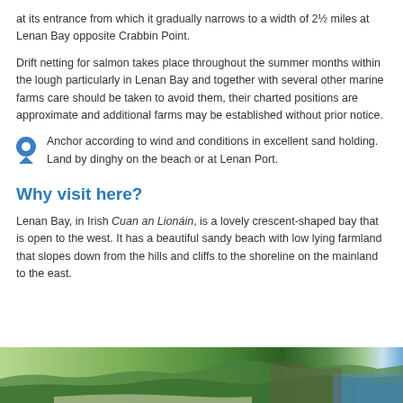at its entrance from which it gradually narrows to a width of 2½ miles at Lenan Bay opposite Crabbin Point.
Drift netting for salmon takes place throughout the summer months within the lough particularly in Lenan Bay and together with several other marine farms care should be taken to avoid them, their charted positions are approximate and additional farms may be established without prior notice.
Anchor according to wind and conditions in excellent sand holding. Land by dinghy on the beach or at Lenan Port.
Why visit here?
Lenan Bay, in Irish Cuan an Lionáin, is a lovely crescent-shaped bay that is open to the west. It has a beautiful sandy beach with low lying farmland that slopes down from the hills and cliffs to the shoreline on the mainland to the east.
[Figure (photo): Aerial or elevated photograph of Lenan Bay showing green farmland, hills and coastal shoreline]